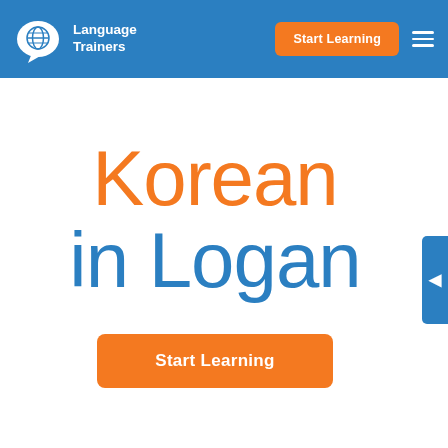[Figure (logo): Language Trainers logo with globe icon and speech bubble on blue header background]
Start Learning
Korean
in Logan
Start Learning